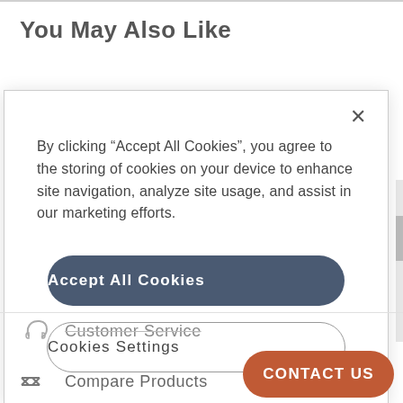You May Also Like
By clicking “Accept All Cookies”, you agree to the storing of cookies on your device to enhance site navigation, analyze site usage, and assist in our marketing efforts.
Accept All Cookies
Cookies Settings
Customer Service
Compare Products
CONTACT US